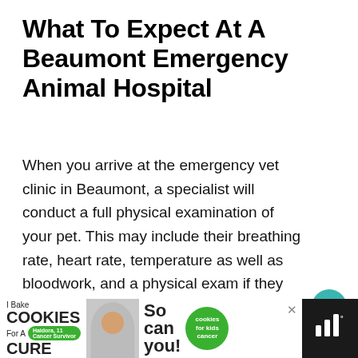What To Expect At A Beaumont Emergency Animal Hospital
When you arrive at the emergency vet clinic in Beaumont, a specialist will conduct a full physical examination of your pet. This may include their breathing rate, heart rate, temperature as well as bloodwork, and a physical exam if they are injured.
[Figure (other): Teal circular button with a heart icon (like/save button)]
[Figure (other): White circular button with a share icon]
[Figure (other): Advertisement banner at bottom: 'I Bake COOKIES For A CURE' with a person photo and 'So can you! cookies for kids cancer' logos, dark right sidebar with app icon]